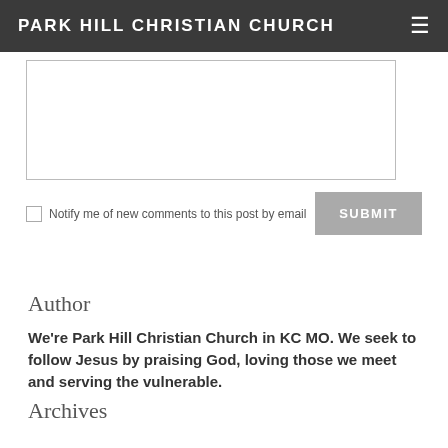PARK HILL CHRISTIAN CHURCH
[Figure (screenshot): A text area input box (comment form field), empty, with a border]
Notify me of new comments to this post by email
SUBMIT
Author
We're Park Hill Christian Church in KC MO. We seek to follow Jesus by praising God, loving those we meet and serving the vulnerable.
Archives